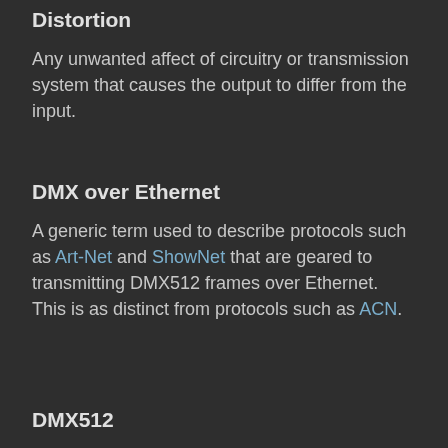Distortion
Any unwanted affect of circuitry or transmission system that causes the output to differ from the input.
DMX over Ethernet
A generic term used to describe protocols such as Art-Net and ShowNet that are geared to transmitting DMX512 frames over Ethernet. This is as distinct from protocols such as ACN.
DMX512